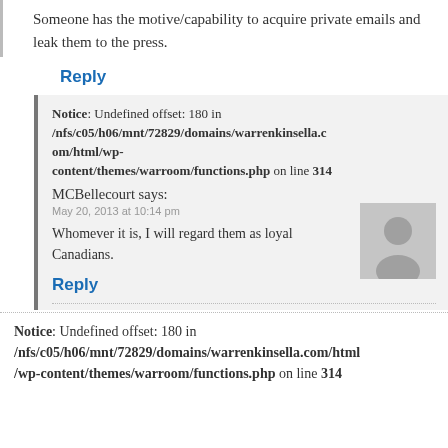Someone has the motive/capability to acquire private emails and leak them to the press.
Reply
Notice: Undefined offset: 180 in /nfs/c05/h06/mnt/72829/domains/warrenkinsella.com/html/wp-content/themes/warroom/functions.php on line 314
MCBellecourt says:
May 20, 2013 at 10:14 pm
Whomever it is, I will regard them as loyal Canadians.
Reply
Notice: Undefined offset: 180 in /nfs/c05/h06/mnt/72829/domains/warrenkinsella.com/html/wp-content/themes/warroom/functions.php on line 314